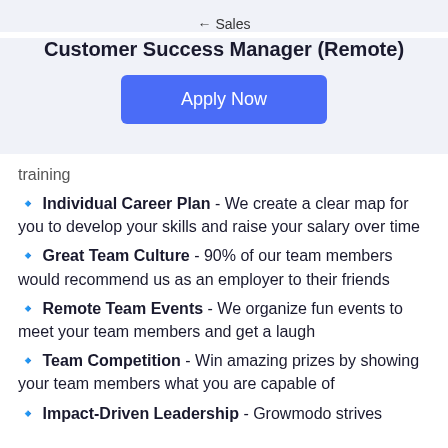← Sales
Customer Success Manager (Remote)
Apply Now
training
🔹 Individual Career Plan - We create a clear map for you to develop your skills and raise your salary over time
🔹 Great Team Culture - 90% of our team members would recommend us as an employer to their friends
🔹 Remote Team Events - We organize fun events to meet your team members and get a laugh
🔹 Team Competition - Win amazing prizes by showing your team members what you are capable of
🔹 Impact-Driven Leadership - Growmodo strives